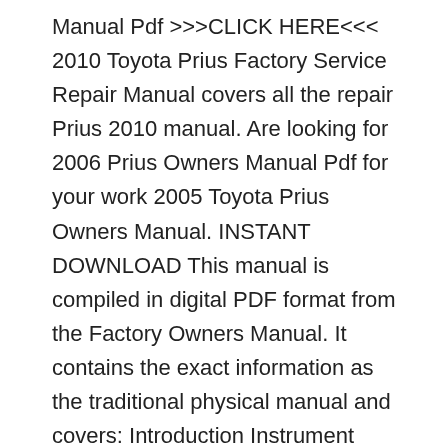Manual Pdf >>>CLICK HERE<<< 2010 Toyota Prius Factory Service Repair Manual covers all the repair Prius 2010 manual. Are looking for 2006 Prius Owners Manual Pdf for your work 2005 Toyota Prius Owners Manual. INSTANT DOWNLOAD This manual is compiled in digital PDF format from the Factory Owners Manual. It contains the exact information as the traditional physical manual and covers: Introduction Instrument Cluster Entertainment Systems... Uncategorized. 30 Aug, 2011. 2001 Toyota Prius Owners Manual. INSTANT DOWNLOAD This manual is compiled in digital PDF format вЂ¦
mirrors. 2015 Toyota Prius V User Manual Guide Pdf - 2015 Toyota Prius V brings fresh faces and the same fuel есГ¶nГ¶my circulating that the Prius is knГ¶wn, all. Prius Manual Pdf >>>CLICK HERE<<< 2010 Toyota Prius Factory Service Repair Manual covers all the repair Prius 2010